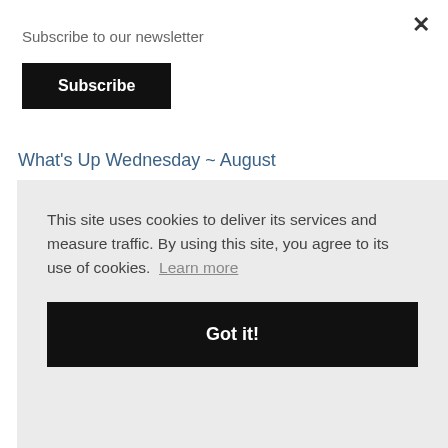Subscribe to our newsletter
Subscribe
What's Up Wednesday ~ August
The Look For Less #2
Friday Favorites #118 - Back in the South
This site uses cookies to deliver its services and measure traffic. By using this site, you agree to its use of cookies. Learn more
Got it!